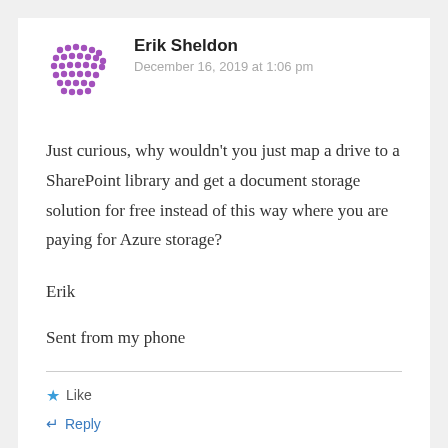[Figure (illustration): Purple dotted avatar icon for user Erik Sheldon]
Erik Sheldon
December 16, 2019 at 1:06 pm
Just curious, why wouldn't you just map a drive to a SharePoint library and get a document storage solution for free instead of this way where you are paying for Azure storage?
Erik
Sent from my phone
Like
Reply